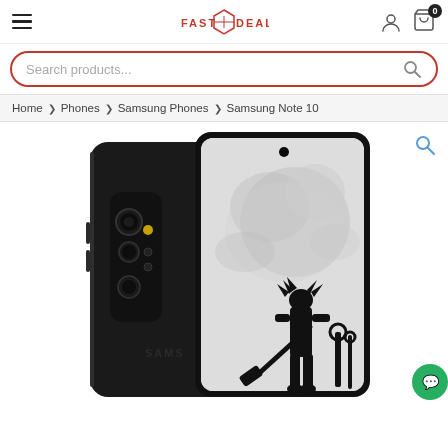FAST DEAL — navigation bar with hamburger menu, logo, user icon, and cart (0)
Search products...
Home > Phones > Samsung Phones > Samsung Note 10
[Figure (photo): Samsung Galaxy Note 10 product photo showing the back and front of the phone. The back is dark/black with a vertical quad-camera module on the left side and 'SAMSUNG' logo. The front display shows a Kingdom Hearts (Sora) wallpaper silhouette illustration.]